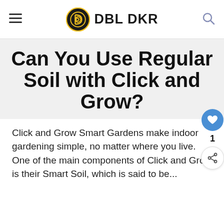DBL DKR
Can You Use Regular Soil with Click and Grow?
Click and Grow Smart Gardens make indoor gardening simple, no matter where you live. One of the main components of Click and Grow is their Smart Soil, which is said to be...